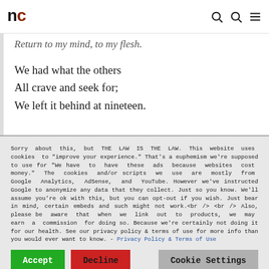nc
Return to my mind, to my flesh.
We had what the others
All crave and seek for;
We left it behind at nineteen.
Sorry about this, but THE LAW IS THE LAW. This website uses cookies to "improve your experience." That's a euphemism we're supposed to use for "We have to have these ads because websites cost money." The cookies and/or scripts we use are mostly from Google Analytics, AdSense, and YouTube. However we've instructed Google to anonymize any data that they collect. Just so you know. We'll assume you're ok with this, but you can opt-out if you wish. Just bear in mind, certain embeds and such might not work.<br /> <br /> Also, please be aware that when we link out to products, we may earn a commission for doing so. Because we're certainly not doing it for our health. See our privacy policy & terms of use for more info than you would ever want to know. - Privacy Policy & Terms of Use